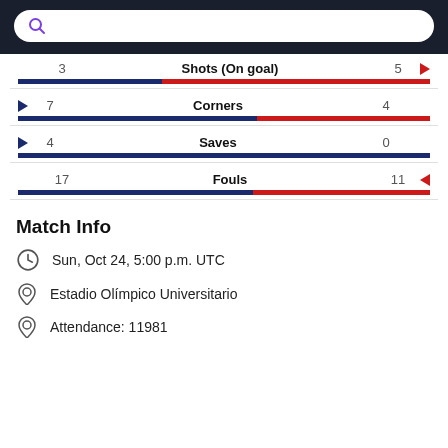[Figure (screenshot): Search bar UI element with purple search icon on dark background]
| Left Value | Stat | Right Value |
| --- | --- | --- |
| 3 | Shots (On goal) | 5 |
| 7 | Corners | 4 |
| 4 | Saves | 0 |
| 17 | Fouls | 11 |
Match Info
Sun, Oct 24, 5:00 p.m. UTC
Estadio Olímpico Universitario
Attendance: 11981